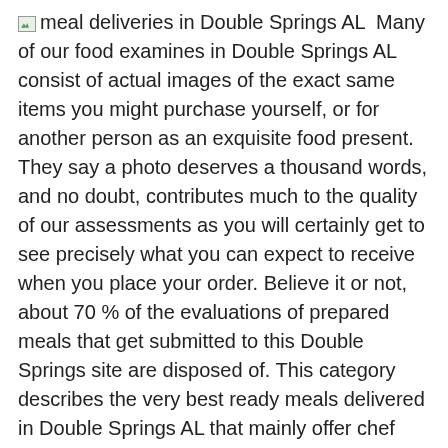[image: meal deliveries in Double Springs AL]  Many of our food examines in Double Springs AL consist of actual images of the exact same items you might purchase yourself, or for another person as an exquisite food present. They say a photo deserves a thousand words, and no doubt, contributes much to the quality of our assessments as you will certainly get to see precisely what you can expect to receive when you place your order. Believe it or not, about 70 % of the evaluations of prepared meals that get submitted to this Double Springs site are disposed of. This category describes the very best ready meals delivered in Double Springs AL that mainly offer chef prepared meals. Alabama companies in this classification could provide nutritional and diet delivery meals, however they are different from companies in the weight reduction meal category in that they do not need consumers to purchase meal plans with automatic deliveries.